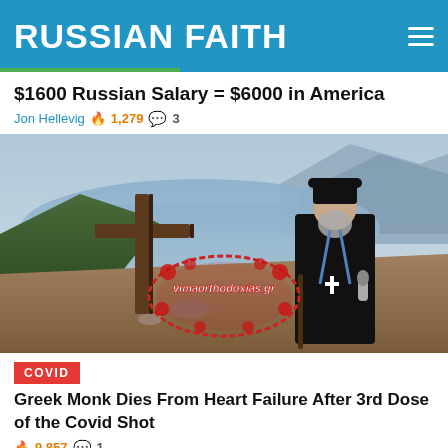RUSSIAN FAITH
$1600 Russian Salary = $6000 in America
Jon Hellevig 🔥 1,279 💬 3
[Figure (photo): Orthodox monk in black robes and kamilavka standing beside a wooden cross on a hillside overlooking a sea bay, with a watermark 'vimaorthodoxias.gr' in center]
COVID
Greek Monk Dies From Heart Failure After 3rd Dose of the Covid Shot